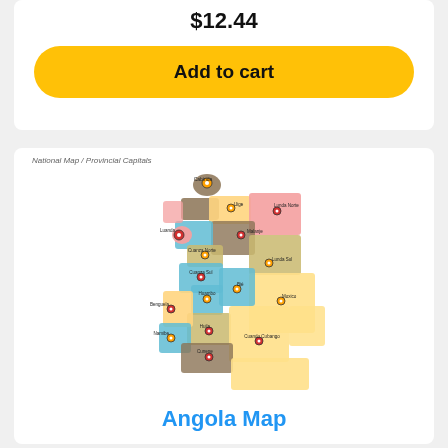$12.44
Add to cart
National Map / Provincial Capitals
[Figure (map): Angola map with colored provinces and location pin markers showing provincial capitals]
Angola Map
$36.44
Add to cart